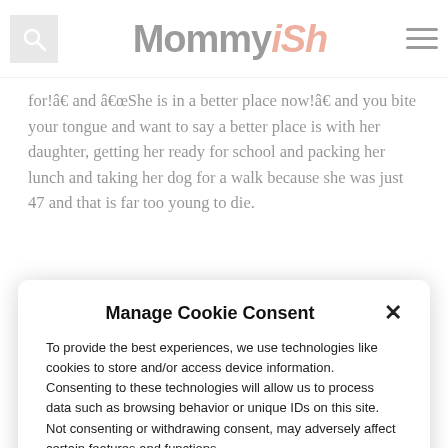Mommyish
for!” and “She is in a better place now!” and you bite your tongue and want to say a better place is with her daughter, getting her ready for school and packing her lunch and taking her dog for a walk because she was just 47 and that is far too young to die.
Manage Cookie Consent
To provide the best experiences, we use technologies like cookies to store and/or access device information. Consenting to these technologies will allow us to process data such as browsing behavior or unique IDs on this site. Not consenting or withdrawing consent, may adversely affect certain features and functions.
Accept
Privacy